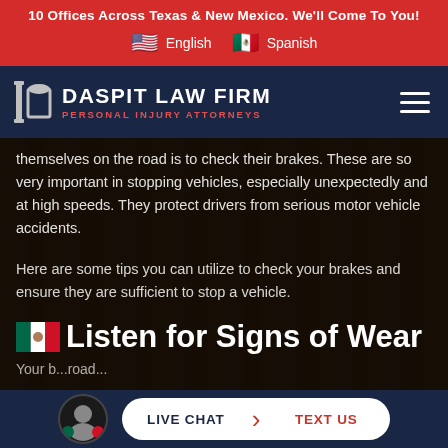10 Offices Across Texas & New Mexico. We'll Come To You!
English   Spanish
[Figure (logo): Daspit Law Firm - Personal Injury Attorneys logo with column icon on dark navy background]
themselves on the road is to check their brakes. These are so very important in stopping vehicles, especially unexpectedly and at high speeds. They protect drivers from serious motor vehicle accidents.
Here are some tips you can utilize to check your brakes and ensure they are sufficient to stop a vehicle.
Listen for Signs of Wear
Your b... road...
LIVE CHAT   TEXT US